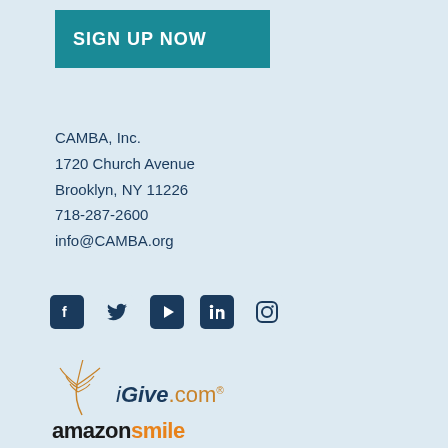SIGN UP NOW
CAMBA, Inc.
1720 Church Avenue
Brooklyn, NY 11226
718-287-2600
info@CAMBA.org
[Figure (infographic): Social media icons: Facebook, Twitter, YouTube, LinkedIn, Instagram]
[Figure (logo): iGive.com logo with orange feather/dandelion graphic]
[Figure (logo): amazon smile logo in black and orange]